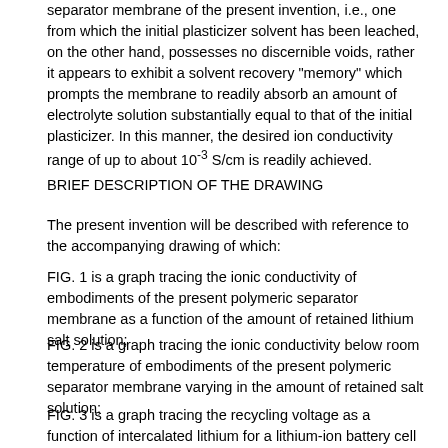separator membrane of the present invention, i.e., one from which the initial plasticizer solvent has been leached, on the other hand, possesses no discernible voids, rather it appears to exhibit a solvent recovery "memory" which prompts the membrane to readily absorb an amount of electrolyte solution substantially equal to that of the initial plasticizer. In this manner, the desired ion conductivity range of up to about 10⁻³ S/cm is readily achieved.
BRIEF DESCRIPTION OF THE DRAWING
The present invention will be described with reference to the accompanying drawing of which:
FIG. 1 is a graph tracing the ionic conductivity of embodiments of the present polymeric separator membrane as a function of the amount of retained lithium salt solution;
FIG. 2 is a graph tracing the ionic conductivity below room temperature of embodiments of the present polymeric separator membrane varying in the amount of retained salt solution;
FIG. 3 is a graph tracing the recycling voltage as a function of intercalated lithium for a lithium-ion battery cell comprising a polymeric separator membrane electrolyte of the present invention;